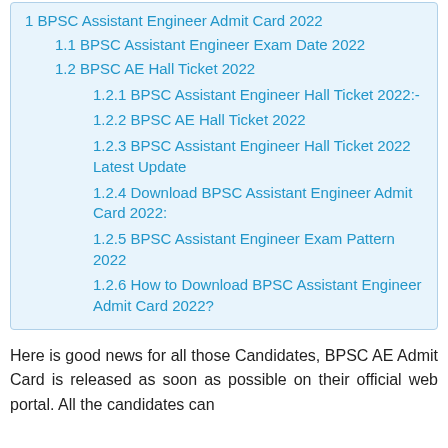1 BPSC Assistant Engineer Admit Card 2022
1.1 BPSC Assistant Engineer Exam Date 2022
1.2 BPSC AE Hall Ticket 2022
1.2.1 BPSC Assistant Engineer Hall Ticket 2022:-
1.2.2 BPSC AE Hall Ticket 2022
1.2.3 BPSC Assistant Engineer Hall Ticket 2022 Latest Update
1.2.4 Download BPSC Assistant Engineer Admit Card 2022:
1.2.5 BPSC Assistant Engineer Exam Pattern 2022
1.2.6 How to Download BPSC Assistant Engineer Admit Card 2022?
Here is good news for all those Candidates, BPSC AE Admit Card is released as soon as possible on their official web portal. All the candidates can